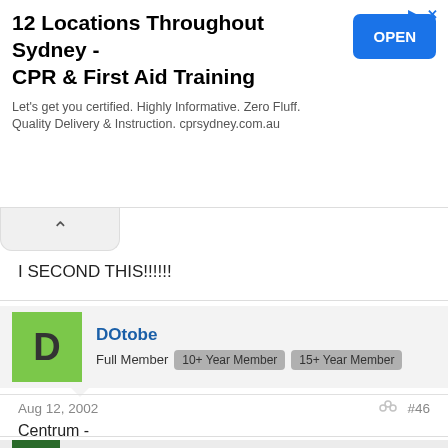[Figure (screenshot): Advertisement banner for CPR & First Aid Training with blue OPEN button]
I SECOND THIS!!!!!!
DOtobe
Full Member  10+ Year Member  15+ Year Member
Aug 12, 2002  #46
Centrum -
Awesome smiley! And so appropriate....
TheRock